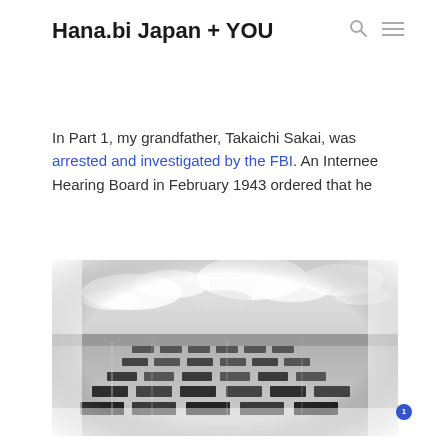Hana.bi Japan + YOU
In Part 1, my grandfather, Takaichi Sakai, was arrested and investigated by the FBI. An Internee Hearing Board in February 1943 ordered that he
[Figure (photo): Black and white aerial photograph of an internment camp with rows of barracks buildings spread across a flat desert landscape under a cloudy sky.]